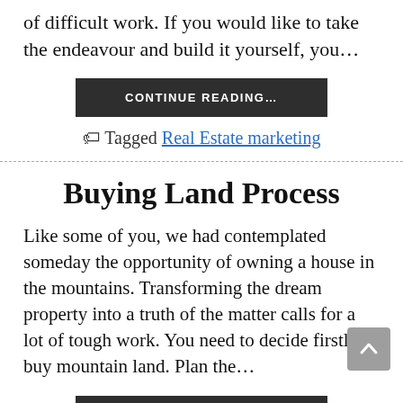of difficult work. If you would like to take the endeavour and build it yourself, you…
CONTINUE READING…
Tagged Real Estate marketing
Buying Land Process
Like some of you, we had contemplated someday the opportunity of owning a house in the mountains. Transforming the dream property into a truth of the matter calls for a lot of tough work. You need to decide firstly to buy mountain land. Plan the…
CONTINUE READING…
Tagged Real Estate marketing
Effortless & Helpful Real Estate